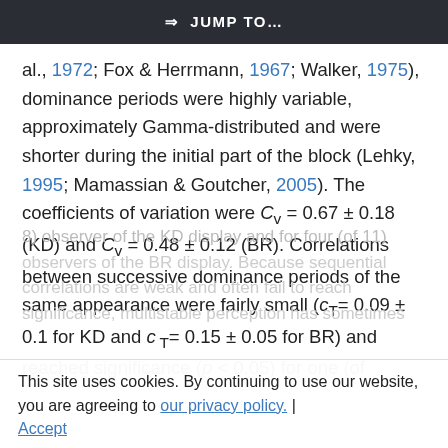⇒ JUMP TO…
al., 1972; Fox & Herrmann, 1967; Walker, 1975), dominance periods were highly variable, approximately Gamma-distributed and were shorter during the initial part of the block (Lehky, 1995; Mamassian & Goutcher, 2005). The coefficients of variation were C_v = 0.67 ± 0.18 (KD) and C_v = 0.48 ± 0.12 (BR). Correlations between successive dominance periods of the same appearance were fairly small (c_T = 0.09 ± 0.1 for KD and c_T = 0.15 ± 0.05 for BR) and reached significance (p < 0.05) for one (of 8) observer of the KD display and for four (of 11) observers of the BR display. Because sequential correlations are weak and often fail to reach significance, multistable perception has sometimes
This site uses cookies. By continuing to use our website, you are agreeing to our privacy policy. Accept